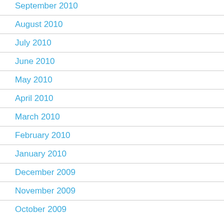September 2010
August 2010
July 2010
June 2010
May 2010
April 2010
March 2010
February 2010
January 2010
December 2009
November 2009
October 2009